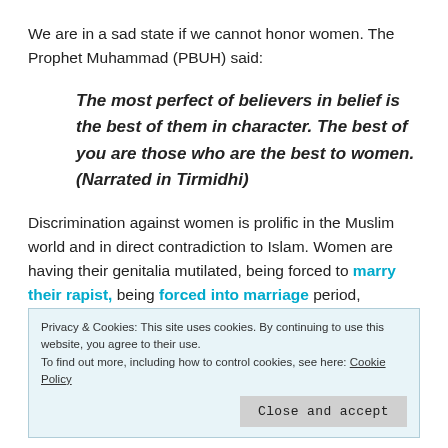We are in a sad state if we cannot honor women. The Prophet Muhammad (PBUH) said:
The most perfect of believers in belief is the best of them in character. The best of you are those who are the best to women. (Narrated in Tirmidhi)
Discrimination against women is prolific in the Muslim world and in direct contradiction to Islam. Women are having their genitalia mutilated, being forced to marry their rapist, being forced into marriage period,
Privacy & Cookies: This site uses cookies. By continuing to use this website, you agree to their use.
To find out more, including how to control cookies, see here: Cookie Policy
Close and accept